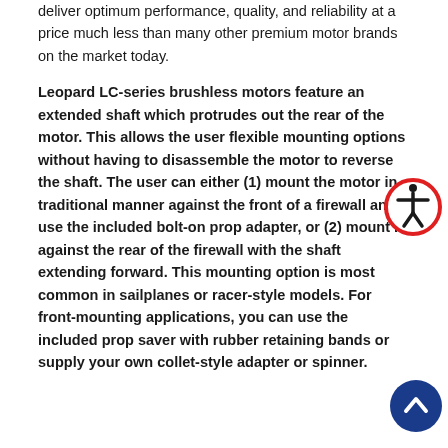deliver optimum performance, quality, and reliability at a price much less than many other premium motor brands on the market today.
Leopard LC-series brushless motors feature an extended shaft which protrudes out the rear of the motor. This allows the user flexible mounting options without having to disassemble the motor to reverse the shaft. The user can either (1) mount the motor in traditional manner against the front of a firewall and use the included bolt-on prop adapter, or (2) mount it against the rear of the firewall with the shaft extending forward. This mounting option is most common in sailplanes or racer-style models. For front-mounting applications, you can use the included prop saver with rubber retaining bands or supply your own collet-style adapter or spinner.